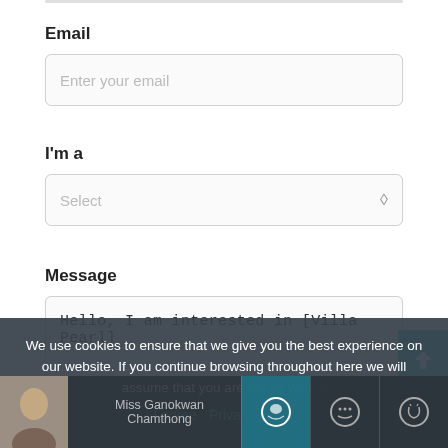Email
Enter your email
I'm a
Select
Message
Hello, I am interested in [Villa Pearl]
We use cookies to ensure that we give you the best experience on our website. If you continue browsing throughout here we will assume that you are happy with it.
I agree  Privacy policy
Miss Ganokwan Chamthong